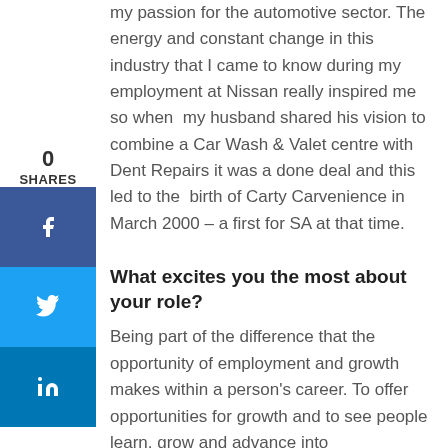my passion for the automotive sector. The energy and constant change in this industry that I came to know during my employment at Nissan really inspired me so when my husband shared his vision to combine a Car Wash & Valet centre with Dent Repairs it was a done deal and this led to the birth of Carty Carvenience in March 2000 – a first for SA at that time.
What excites you the most about your role?
Being part of the difference that the opportunity of employment and growth makes within a person's career. To offer opportunities for growth and to see people learn, grow and advance into